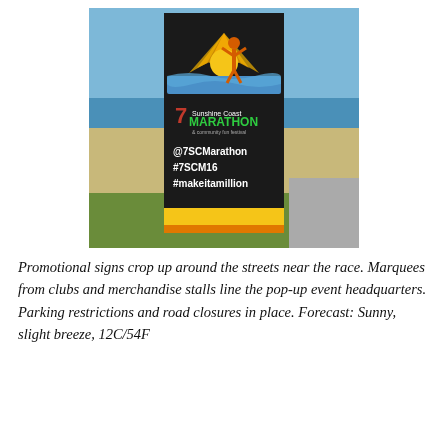[Figure (photo): A tall promotional sign for the Sunshine Coast Marathon & community fun festival (branded with channel 7 logo), standing outdoors near a beach. The sign shows a runner silhouette with sunburst graphic, the text '@7SCMarathon', '#7SCM16', '#makeitamillion', set against a background of blue sky, ocean, sand and green grass.]
Promotional signs crop up around the streets near the race. Marquees from clubs and merchandise stalls line the pop-up event headquarters. Parking restrictions and road closures in place. Forecast: Sunny, slight breeze, 12C/54F